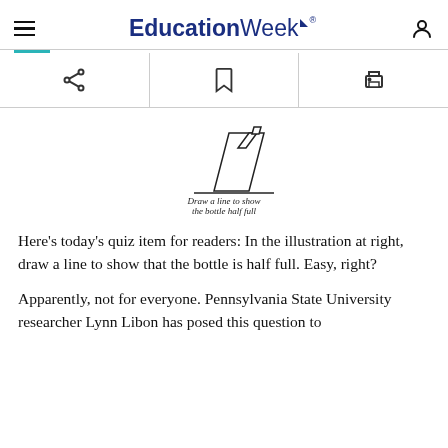EducationWeek
[Figure (illustration): Line drawing of a tilted bottle with a horizontal line beneath it and the caption 'Draw a line to show the bottle half full']
Here’s today’s quiz item for readers: In the illustration at right, draw a line to show that the bottle is half full. Easy, right?
Apparently, not for everyone. Pennsylvania State University researcher Lynn Libon has posed this question to